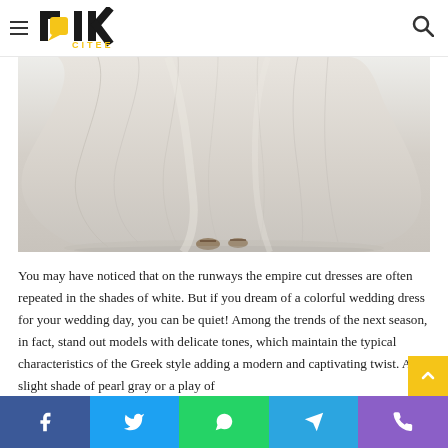blk CITEE — navigation header with logo and search icon
[Figure (photo): Lower portion of a white/ivory flowing Greek-style empire cut wedding dress with the hem pooling on the ground and strappy sandal heels visible at the bottom, on a white/light background.]
You may have noticed that on the runways the empire cut dresses are often repeated in the shades of white. But if you dream of a colorful wedding dress for your wedding day, you can be quiet! Among the trends of the next season, in fact, stand out models with delicate tones, which maintain the typical characteristics of the Greek style adding a modern and captivating twist. A slight shade of pearl gray or a play of
Social share buttons: Facebook, Twitter, WhatsApp, Telegram, Phone